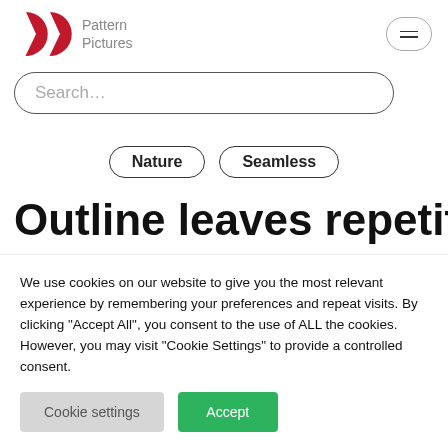[Figure (logo): Pattern Pictures logo — two dark red pac-man-like circular arc shapes side by side]
Pattern
Pictures
Search...
Nature
Seamless
Outline leaves repetition
We use cookies on our website to give you the most relevant experience by remembering your preferences and repeat visits. By clicking "Accept All", you consent to the use of ALL the cookies. However, you may visit "Cookie Settings" to provide a controlled consent.
Cookie settings
Accept